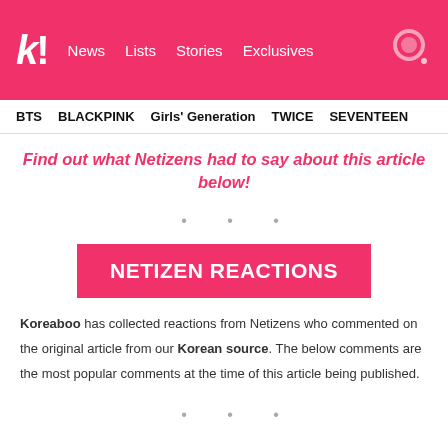k! News  Lists  Stories  Exclusives
BTS  BLACKPINK  Girls' Generation  TWICE  SEVENTEEN
Find out what Netizens had to say about this article below!
• • •
NETIZEN REACTIONS
Koreaboo has collected reactions from Netizens who commented on the original article from our Korean source. The below comments are the most popular comments at the time of this article being published.
• • •